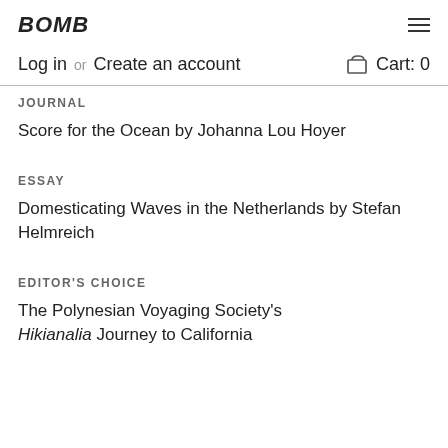BOMB
Log in or Create an account   Cart: 0
JOURNAL
Score for the Ocean by Johanna Lou Hoyer
ESSAY
Domesticating Waves in the Netherlands by Stefan Helmreich
EDITOR'S CHOICE
The Polynesian Voyaging Society's Hikianalia Journey to California